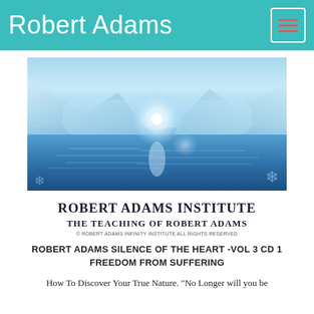Robert Adams
[Figure (photo): Serene blue mountain lake scene with reflections of light on water and snow-capped mountains in background]
[Figure (illustration): Robert Adams Institute logo block with text: ROBERT ADAMS INSTITUTE / THE TEACHING OF ROBERT ADAMS / © ROBERT ADAMS INFINITY INSTITUTE ALL RIGHTS RESERVED]
ROBERT ADAMS SILENCE OF THE HEART -VOL 3 CD 1 FREEDOM FROM SUFFERING
How To Discover Your True Nature. "No Longer will you be